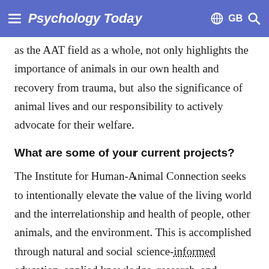Psychology Today  GB
as the AAT field as a whole, not only highlights the importance of animals in our own health and recovery from trauma, but also the significance of animal lives and our responsibility to actively advocate for their welfare.
What are some of your current projects?
The Institute for Human-Animal Connection seeks to intentionally elevate the value of the living world and the interrelationship and health of people, other animals, and the environment. This is accomplished through natural and social science-informed education, applied knowledge, research, and advocacy, with ethical regard for all species.